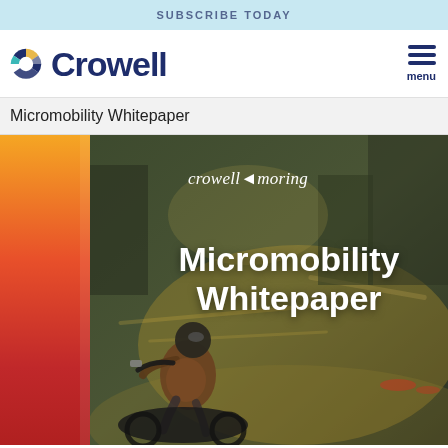SUBSCRIBE TODAY
[Figure (logo): Crowell law firm logo with circular icon and bold navy text 'Crowell']
Micromobility Whitepaper
[Figure (photo): Cover image of Micromobility Whitepaper by Crowell & Moring. Shows a person riding a scooter/motorcycle in motion blur at night. Left side has orange-to-red gradient stripe. White text overlaid reads 'crowellmoring' logo and 'Micromobility Whitepaper' in bold white.]